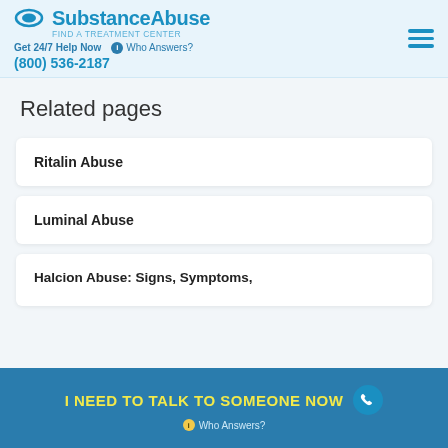SubstanceAbuse | Get 24/7 Help Now (800) 536-2187 | Who Answers?
Related pages
Ritalin Abuse
Luminal Abuse
Halcion Abuse: Signs, Symptoms,
I NEED TO TALK TO SOMEONE NOW | Who Answers?